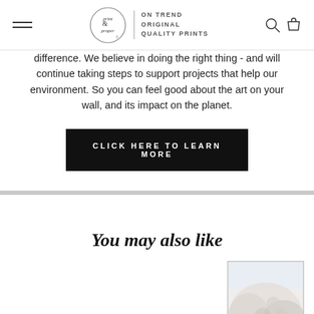print & proper | ON TREND ORIGINAL QUALITY PRINTS
difference. We believe in doing the right thing - and will continue taking steps to support projects that help our environment. So you can feel good about the art on your wall, and its impact on the planet.
CLICK HERE TO LEARN MORE
You may also like
[Figure (photo): Framed art print showing a textured, fluffy white/grey natural scene, partially visible in bottom right area of page]